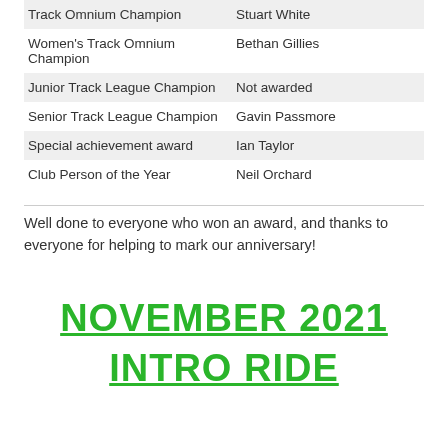| Track Omnium Champion | Stuart White |
| Women's Track Omnium Champion | Bethan Gillies |
| Junior Track League Champion | Not awarded |
| Senior Track League Champion | Gavin Passmore |
| Special achievement award | Ian Taylor |
| Club Person of the Year | Neil Orchard |
Well done to everyone who won an award, and thanks to everyone for helping to mark our anniversary!
NOVEMBER 2021 INTRO RIDE